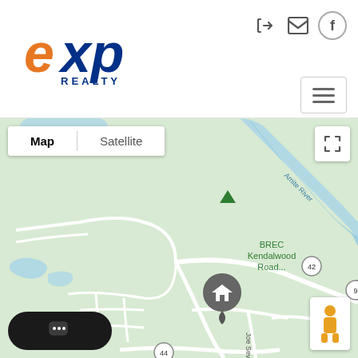[Figure (logo): eXp Realty logo with orange 'e' and blue 'xp' and blue 'REALTY' text]
[Figure (screenshot): Google Maps view showing BREC Kendalwood Road area with Amite River, road markers including route 42 and 44, Joe Sevario Rd, and a house location pin in the center of the map]
[Figure (other): Chat widget button with three dots indicating a chat interface]